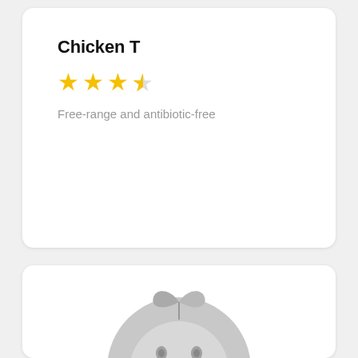Chicken T
Free-range and antibiotic-free
[Figure (illustration): Partial view of a circular grey cartoon character icon with leaf/plant motif, shown from the top portion, centered in the bottom card area]